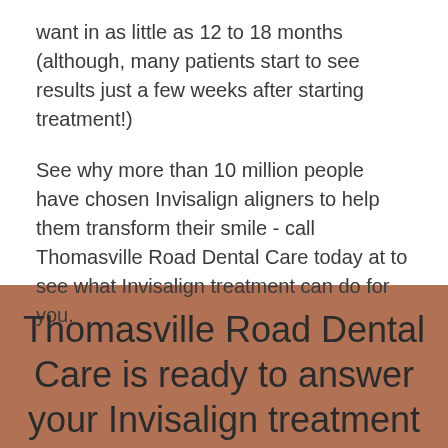want in as little as 12 to 18 months (although, many patients start to see results just a few weeks after starting treatment!)
See why more than 10 million people have chosen Invisalign aligners to help them transform their smile - call Thomasville Road Dental Care today at to see what Invisalign treatment can do for you.
Thomasville Road Dental Care is ready to answer your Invisalign treatment questions. Book